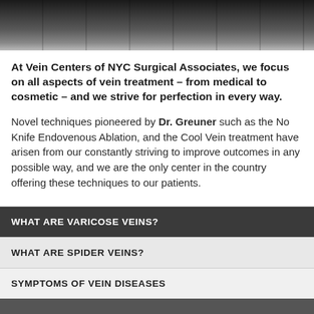[Figure (photo): Dark banner photo showing silhouettes of people, likely medical staff, against a dark background]
At Vein Centers of NYC Surgical Associates, we focus on all aspects of vein treatment – from medical to cosmetic – and we strive for perfection in every way.
Novel techniques pioneered by Dr. Greuner such as the No Knife Endovenous Ablation, and the Cool Vein treatment have arisen from our constantly striving to improve outcomes in any possible way, and we are the only center in the country offering these techniques to our patients.
WHAT ARE VARICOSE VEINS?
WHAT ARE SPIDER VEINS?
SYMPTOMS OF VEIN DISEASES